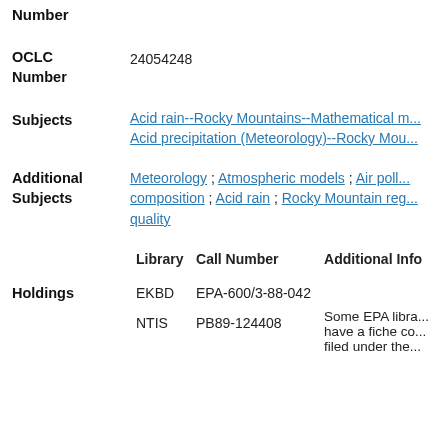Number
| OCLC Number | 24054248 |
| Subjects | Acid rain--Rocky Mountains--Mathematical m...
Acid precipitation (Meteorology)--Rocky Mou... |
| Additional Subjects | Meteorology ; Atmospheric models ; Air poll...
composition ; Acid rain ; Rocky Mountain reg...
quality |
| Library | Call Number | Additional Info |
| --- | --- | --- |
| EKBD | EPA-600/3-88-042 |  |
| NTIS | PB89-124408 | Some EPA libra... have a fiche co... filed under the... |
Holdings